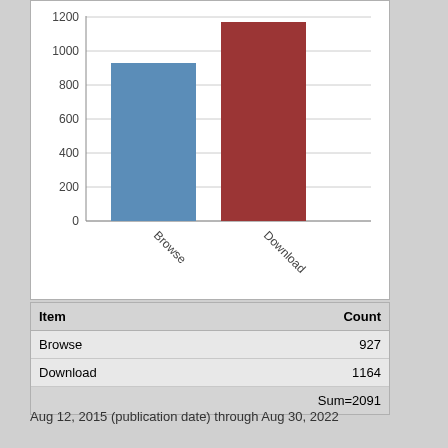[Figure (bar-chart): ]
| Item | Count |
| --- | --- |
| Browse | 927 |
| Download | 1164 |
|  | Sum=2091 |
Aug 12, 2015 (publication date) through Aug 30, 2022